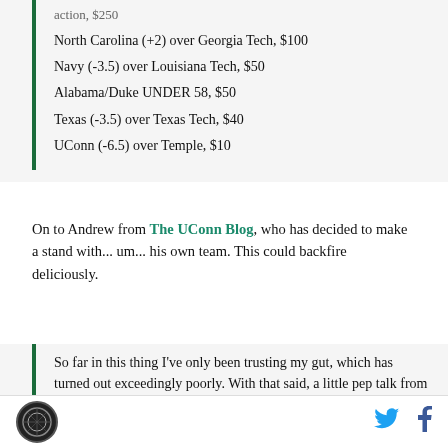North Carolina (+2) over Georgia Tech, $100
Navy (-3.5) over Louisiana Tech, $50
Alabama/Duke UNDER 58, $50
Texas (-3.5) over Texas Tech, $40
UConn (-6.5) over Temple, $10
On to Andrew from The UConn Blog, who has decided to make a stand with... um... his own team. This could backfire deliciously.
So far in this thing I've only been trusting my gut, which has turned out exceedingly poorly. With that said, a little pep talk from Meacham and the fact that I feel incredibly uneasy about the game have